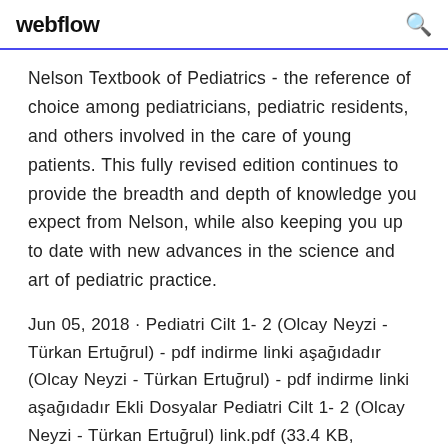webflow
Nelson Textbook of Pediatrics - the reference of choice among pediatricians, pediatric residents, and others involved in the care of young patients. This fully revised edition continues to provide the breadth and depth of knowledge you expect from Nelson, while also keeping you up to date with new advances in the science and art of pediatric practice.
Jun 05, 2018 · Pediatri Cilt 1- 2 (Olcay Neyzi - Türkan Ertuğrul) - pdf indirme linki aşağıdadır (Olcay Neyzi - Türkan Ertuğrul) - pdf indirme linki aşağıdadır Ekli Dosyalar Pediatri Cilt 1- 2 (Olcay Neyzi - Türkan Ertuğrul) link.pdf (33.4 KB,